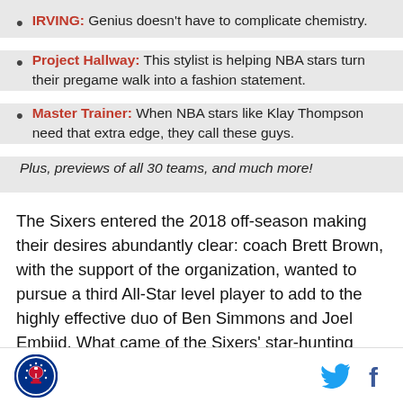IRVING: Genius doesn't have to complicate chemistry.
Project Hallway: This stylist is helping NBA stars turn their pregame walk into a fashion statement.
Master Trainer: When NBA stars like Klay Thompson need that extra edge, they call these guys.
Plus, previews of all 30 teams, and much more!
The Sixers entered the 2018 off-season making their desires abundantly clear: coach Brett Brown, with the support of the organization, wanted to pursue a third All-Star level player to add to the highly effective duo of Ben Simmons and Joel Embiid. What came of the Sixers' star-hunting aspirations was utter
[Figure (logo): Philadelphia 76ers circular logo with liberty bell icon]